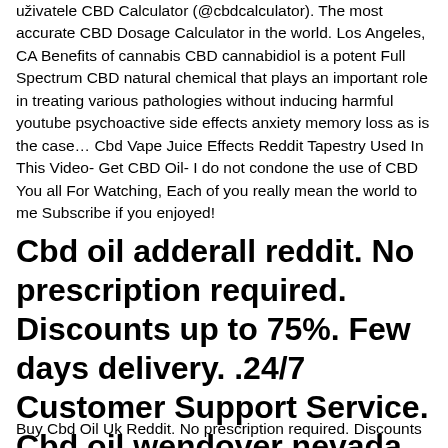uživatele CBD Calculator (@cbdcalculator). The most accurate CBD Dosage Calculator in the world. Los Angeles, CA Benefits of cannabis CBD cannabidiol is a potent Full Spectrum CBD natural chemical that plays an important role in treating various pathologies without inducing harmful youtube psychoactive side effects anxiety memory loss as is the case… Cbd Vape Juice Effects Reddit Tapestry Used In This Video- Get CBD Oil- I do not condone the use of CBD You all For Watching, Each of you really mean the world to me Subscribe if you enjoyed!
Cbd oil adderall reddit. No prescription required. Discounts up to 75%. Few days delivery. .24/7 Customer Support Service. Cbd oil wendover nevada
Buy Cbd Oil Uk Reddit. No prescription required. Discounts up